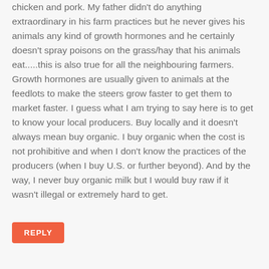chicken and pork. My father didn't do anything extraordinary in his farm practices but he never gives his animals any kind of growth hormones and he certainly doesn't spray poisons on the grass/hay that his animals eat.....this is also true for all the neighbouring farmers. Growth hormones are usually given to animals at the feedlots to make the steers grow faster to get them to market faster. I guess what I am trying to say here is to get to know your local producers. Buy locally and it doesn't always mean buy organic. I buy organic when the cost is not prohibitive and when I don't know the practices of the producers (when I buy U.S. or further beyond). And by the way, I never buy organic milk but I would buy raw if it wasn't illegal or extremely hard to get.
REPLY